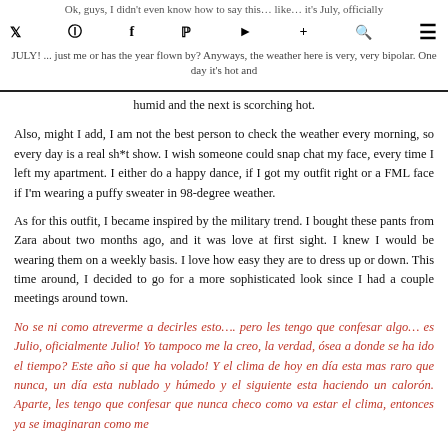Ok, guys, I didn't even know how to say this… like… it's July, officially JULY! ...just me or has the year flown by? Anyways, the weather here is very, very bipolar. One day it's hot and humid and the next is scorching hot.
Also, might I add, I am not the best person to check the weather every morning, so every day is a real sh*t show. I wish someone could snap chat my face, every time I left my apartment. I either do a happy dance, if I got my outfit right or a FML face if I'm wearing a puffy sweater in 98-degree weather.
As for this outfit, I became inspired by the military trend. I bought these pants from Zara about two months ago, and it was love at first sight. I knew I would be wearing them on a weekly basis. I love how easy they are to dress up or down. This time around, I decided to go for a more sophisticated look since I had a couple meetings around town.
No se ni como atreverme a decirles esto…. pero les tengo que confesar algo… es Julio, oficialmente Julio! Yo tampoco me la creo, la verdad, ósea a donde se ha ido el tiempo? Este año si que ha volado! Y el clima de hoy en día esta mas raro que nunca, un día esta nublado y húmedo y el siguiente esta haciendo un calorón. Aparte, les tengo que confesar que nunca checo como va estar el clima, entonces ya se imaginaran como me